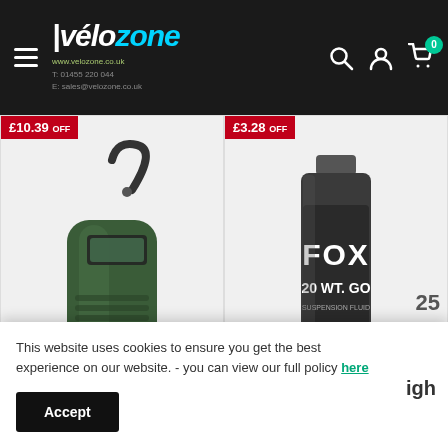Vélozone | T: 01455 220 044 | E: sales@velozone.co.uk
[Figure (photo): Green handheld cordless tyre inflator/pump with flexible hose and digital display, shown on white background. Red discount badge showing £10.39 OFF in top left corner.]
[Figure (photo): Fox Racing Shox 20 WT Gold fork oil bottle partially visible. Red discount badge showing £3.28 OFF in top left corner.]
This website uses cookies to ensure you get the best experience on our website. - you can view our full policy here
Accept